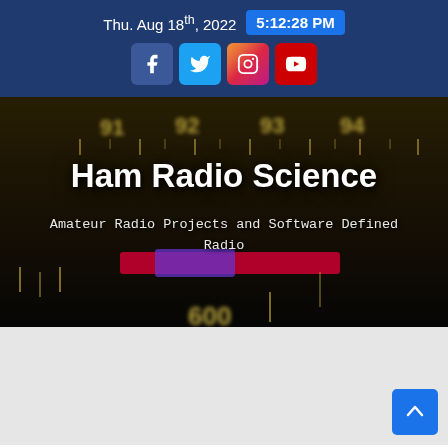Thu. Aug 18th, 2022  5:12:28 PM
[Figure (screenshot): Social media icon buttons: Facebook (blue), Twitter (light blue), Instagram (gradient), YouTube (red)]
Ham Radio Science
Amateur Radio Projects and Software Defined Radio
[Figure (photo): Dark blurred photo of a vintage radio dial showing frequency numbers including 92, 93, 94, 600 with illuminated display and colorful backlit tuner scale]